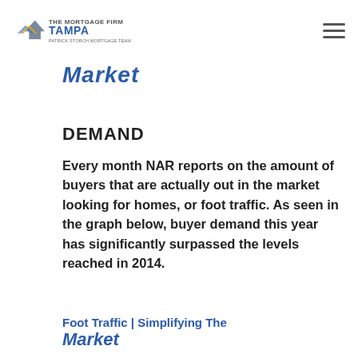[Figure (logo): The Mortgage Firm Tampa - Patrick Storch Mortgage Team logo with house/roof graphic]
Market
DEMAND
Every month NAR reports on the amount of buyers that are actually out in the market looking for homes, or foot traffic. As seen in the graph below, buyer demand this year has significantly surpassed the levels reached in 2014.
[Figure (other): Foot Traffic | Simplifying The Market - image (partially visible)]